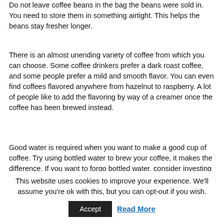Do not leave coffee beans in the bag the beans were sold in. You need to store them in something airtight. This helps the beans stay fresher longer.
There is an almost unending variety of coffee from which you can choose. Some coffee drinkers prefer a dark roast coffee, and some people prefer a mild and smooth flavor. You can even find coffees flavored anywhere from hazelnut to raspberry. A lot of people like to add the flavoring by way of a creamer once the coffee has been brewed instead.
Good water is required when you want to make a good cup of coffee. Try using bottled water to brew your coffee, it makes the difference. If you want to forgo bottled water, consider investing in a water fil...
This website uses cookies to improve your experience. We'll assume you're ok with this, but you can opt-out if you wish.